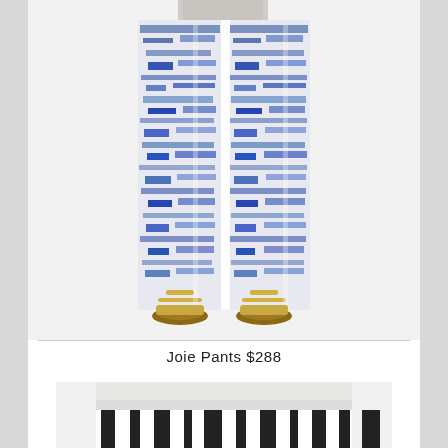[Figure (photo): Wide-leg pants with blue and white ikat/abstract print pattern, worn by a model, showing from waist down with gold sandals]
Joie Pants $288
[Figure (photo): Black and white vertical striped shorts/skirt worn by a model, cropped image showing from waist to mid-thigh, with a white top]